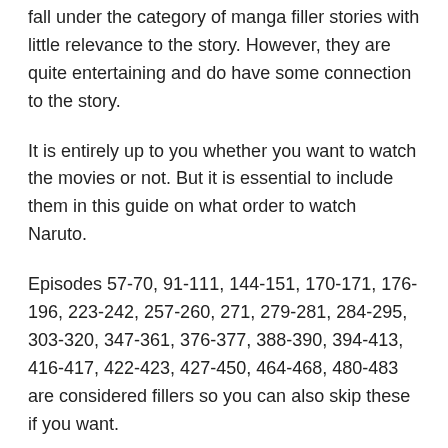fall under the category of manga filler stories with little relevance to the story. However, they are quite entertaining and do have some connection to the story.
It is entirely up to you whether you want to watch the movies or not. But it is essential to include them in this guide on what order to watch Naruto.
Episodes 57-70, 91-111, 144-151, 170-171, 176-196, 223-242, 257-260, 271, 279-281, 284-295, 303-320, 347-361, 376-377, 388-390, 394-413, 416-417, 422-423, 427-450, 464-468, 480-483 are considered fillers so you can also skip these if you want.
3. Boruto: Naruto Next Generation (2017-present)